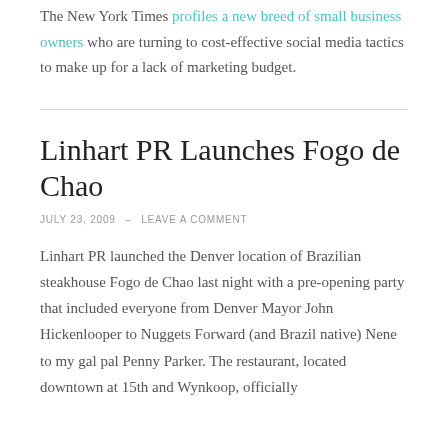The New York Times profiles a new breed of small business owners who are turning to cost-effective social media tactics to make up for a lack of marketing budget.
Linhart PR Launches Fogo de Chao
JULY 23, 2009  –  LEAVE A COMMENT
Linhart PR launched the Denver location of Brazilian steakhouse Fogo de Chao last night with a pre-opening party that included everyone from Denver Mayor John Hickenlooper to Nuggets Forward (and Brazil native) Nene to my gal pal Penny Parker. The restaurant, located downtown at 15th and Wynkoop, officially